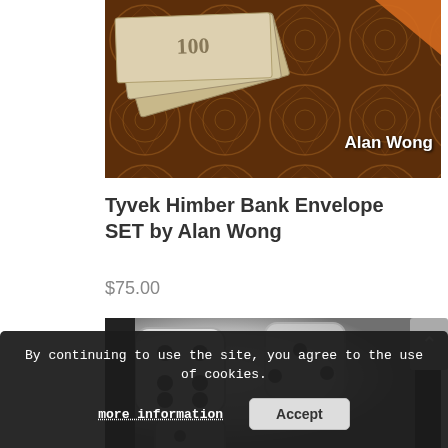[Figure (photo): Product photo: fanned $100 bills on an ornate dark wood surface with gold inlay pattern, orange envelope corner top right. 'Alan Wong' text overlay in bottom right.]
Tyvek Himber Bank Envelope SET by Alan Wong
$75.00
[Figure (photo): Black and white photo of dice, partially obscured by cookie consent banner.]
By continuing to use the site, you agree to the use of cookies.
more information
Accept